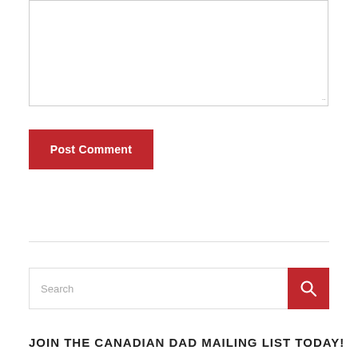[Figure (screenshot): A text area input box with a resize handle in the bottom-right corner]
Post Comment
Search
JOIN THE CANADIAN DAD MAILING LIST TODAY!